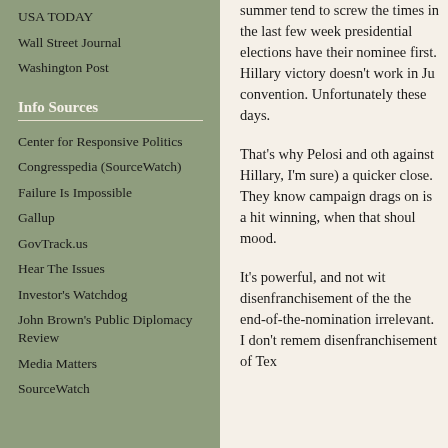USA TODAY
Wall Street Journal
Washington Post
Info Sources
Center for Responsive Politics
Congresspedia (SourceWatch)
Failure Is Impossible
Gallup
GovTrack.us
Hear The Issues
Investor's Watchdog
John Brown's Public Diplomacy Review
Media Matters
SourceWatch
summer tend to screw the times in the last few weeks presidential elections have their nominee first. Hillary victory doesn't work in June convention. Unfortunately, these days.

That's why Pelosi and other against Hillary, I'm sure) a quicker close. They know campaign drags on is a hit winning, when that should mood.

It's powerful, and not with disenfranchisement of the the end-of-the-nomination irrelevant. I don't remember disenfranchisement of Texas